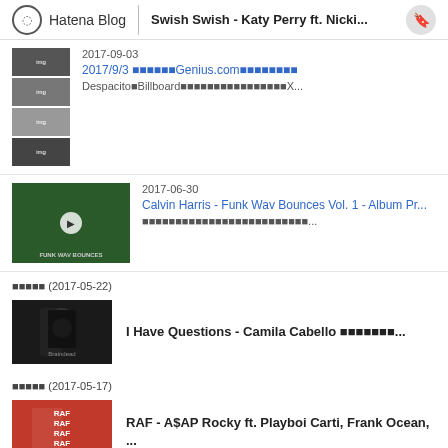Hatena Blog | Swish Swish - Katy Perry ft. Nicki...
2017-09-03
2017/9/3 ■■■■■■Genius.com■■■■■■■■
Despacito■Billboard■■■■■■■■■■■■■■■■X...
2017-06-30
Calvin Harris - Funk Wav Bounces Vol. 1 - Album Pr...
■■■■■■■■■■■■■■■■■■■■■■■■■...
■■■■■ (2017-05-22)
I Have Questions - Camila Cabello ■■■■■■■...
■■■■■ (2017-05-17)
RAF - A$AP Rocky ft. Playboi Carti, Frank Ocean, ...